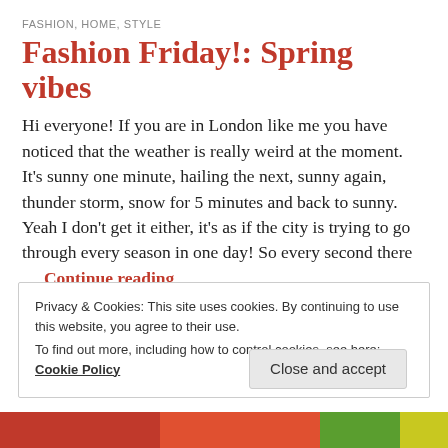FASHION, HOME, STYLE
Fashion Friday!: Spring vibes
Hi everyone! If you are in London like me you have noticed that the weather is really weird at the moment. It’s sunny one minute, hailing the next, sunny again, thunder storm, snow for 5 minutes and back to sunny. Yeah I don’t get it either, it’s as if the city is trying to go through every season in one day! So every second there … Continue reading
APRIL 29, 2016 / 3 COMMENTS
Privacy & Cookies: This site uses cookies. By continuing to use this website, you agree to their use.
To find out more, including how to control cookies, see here: Cookie Policy
[Figure (photo): Colorful food items visible at bottom of page (red and green colors)]